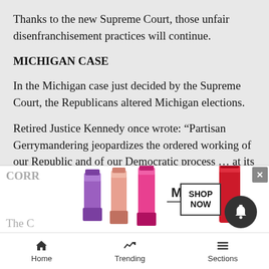Thanks to the new Supreme Court, those unfair disenfranchisement practices will continue.
MICHIGAN CASE
In the Michigan case just decided by the Supreme Court, the Republicans altered Michigan elections.
Retired Justice Kennedy once wrote: “Partisan Gerrymandering jeopardizes the ordered working of our Republic and of our Democratic process … at its most extreme, the practice amounts to rigging elections.” Exactly.
STATE LEGISLATURES MAY CONTINUE
CORR
Thе C
[Figure (other): Advertisement banner for MAC cosmetics showing lipsticks in purple, pink, and red with MAC logo and SHOP NOW button]
Home   Trending   Sections